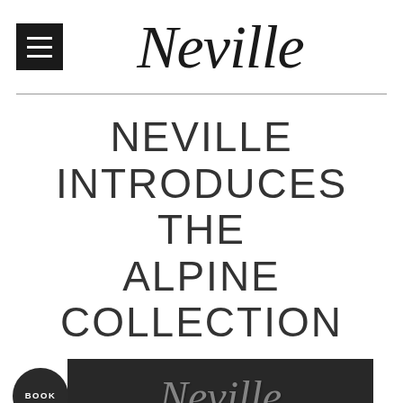Neville
NEVILLE INTRODUCES THE ALPINE COLLECTION
[Figure (photo): Bottom strip showing a dark photo with white script 'Neville' text and a circular 'BOOK' badge on the left]